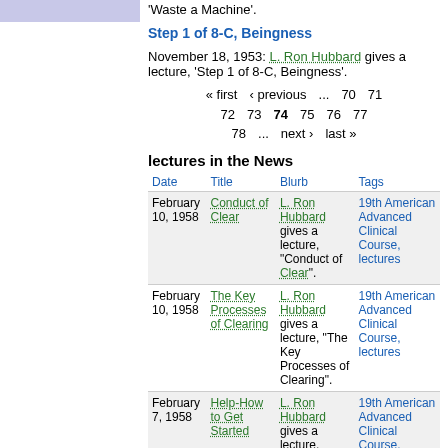'Waste a Machine'.
Step 1 of 8-C, Beingness
November 18, 1953: L. Ron Hubbard gives a lecture, 'Step 1 of 8-C, Beingness'.
« first  ‹ previous  …  70  71  72  73  74  75  76  77  78  …  next ›  last »
lectures in the News
| Date | Title | Blurb | Tags |
| --- | --- | --- | --- |
| February 10, 1958 | Conduct of Clear | L. Ron Hubbard gives a lecture, "Conduct of Clear". | 19th American Advanced Clinical Course, lectures |
| February 10, 1958 | The Key Processes of Clearing | L. Ron Hubbard gives a lecture, "The Key Processes of Clearing". | 19th American Advanced Clinical Course, lectures |
| February 7, 1958 | Help-How to Get Started | L. Ron Hubbard gives a lecture, 'Help-How to Get Started'. | 19th American Advanced Clinical Course, lectures, Washington DC |
|  | Question and ... | L. Ron Hubbard gives ... | 19th American Advanced ... |